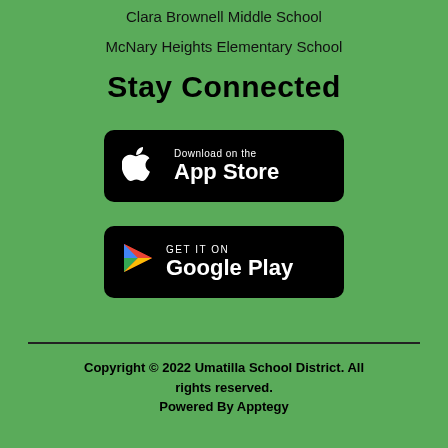Clara Brownell Middle School
McNary Heights Elementary School
Stay Connected
[Figure (logo): Download on the App Store button — black rounded rectangle with Apple logo and text 'Download on the App Store']
[Figure (logo): GET IT ON Google Play button — black rounded rectangle with Google Play triangle logo and text 'GET IT ON Google Play']
Copyright © 2022 Umatilla School District. All rights reserved.
Powered By Apptegy